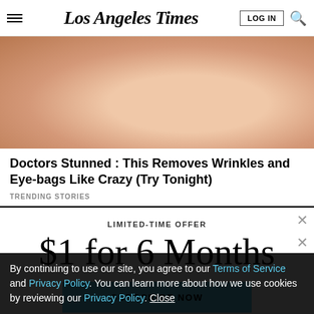Los Angeles Times
[Figure (photo): Close-up photo of a woman's face, blonde hair, earring visible, mouth slightly open, hand near face.]
Doctors Stunned : This Removes Wrinkles and Eye-bags Like Crazy (Try Tonight)
TRENDING STORIES
LIMITED-TIME OFFER
$1 for 6 Months
SUBSCRIBE NOW
Discover the best of everything.
By continuing to use our site, you agree to our Terms of Service and Privacy Policy. You can learn more about how we use cookies by reviewing our Privacy Policy. Close